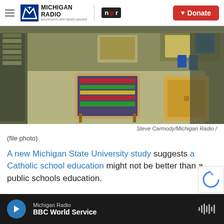Michigan Radio | NPR | Donate
[Figure (photo): Empty classroom interior with desks, chairs, shelves and educational materials. Taken from corridor view.]
Steve Carmody/Michigan Radio  /
(file photo)
A new Michigan State University study suggests a Catholic school education might not be better than a public schools education.
Michigan Radio | BBC World Service